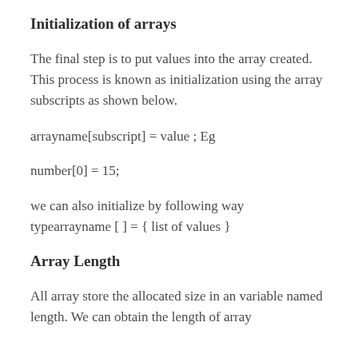Initialization of arrays
The final step is to put values into the array created. This process is known as initialization using the array subscripts as shown below.
arrayname[subscript] = value ; Eg
number[0] = 15;
we can also initialize by following way typearrayname [ ] = { list of values }
Array Length
All array store the allocated size in an variable named length. We can obtain the length of array